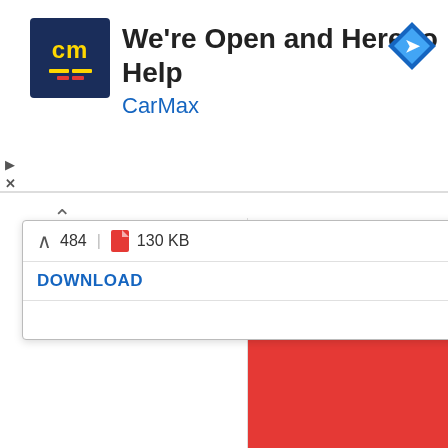[Figure (screenshot): CarMax advertisement banner with logo showing 'cm' in yellow on dark blue background, text 'We're Open and Here to Help', 'CarMax' in blue, and a navigation arrow diamond icon on the right]
[Figure (screenshot): Browser download popup showing file info: 484 | file icon | 130 KB, with a DOWNLOAD link in blue]
Kobe Bryant Wallpaper HD
[Figure (photo): Large red rectangle representing a Kobe Bryant wallpaper HD image]